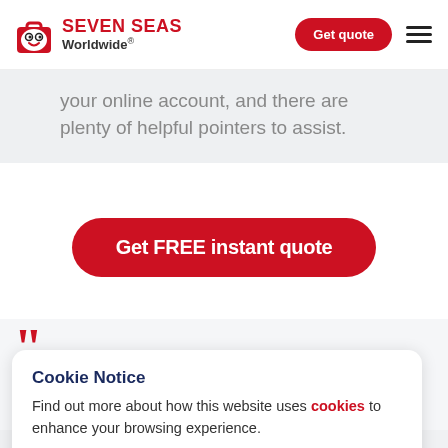Seven Seas Worldwide® — Get quote
your online account, and there are plenty of helpful pointers to assist.
Get FREE instant quote
Cookie Notice
Find out more about how this website uses cookies to enhance your browsing experience.
Accept Cookies